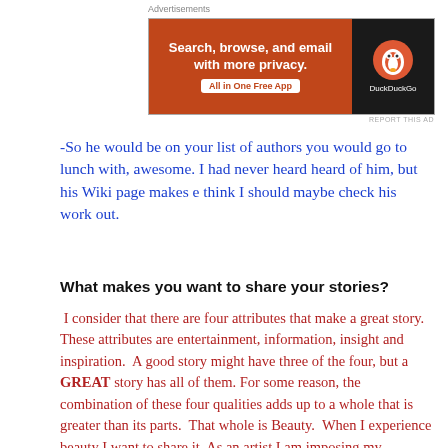[Figure (other): DuckDuckGo advertisement banner: orange background with text 'Search, browse, and email with more privacy. All in One Free App' and DuckDuckGo logo on dark background]
REPORT THIS AD
-So he would be on your list of authors you would go to lunch with, awesome. I had never heard heard of him, but his Wiki page makes e think I should maybe check his work out.
What makes you want to share your stories?
I consider that there are four attributes that make a great story.  These attributes are entertainment, information, insight and inspiration.  A good story might have three of the four, but a GREAT story has all of them. For some reason, the combination of these four qualities adds up to a whole that is greater than its parts.  That whole is Beauty.  When I experience beauty I want to share it. As an artist I am imposing my definition of beauty upon my audience.  If I break down my four components of a great story, I have a structure, an architecture of beauty that gets more and more compelling.  What is